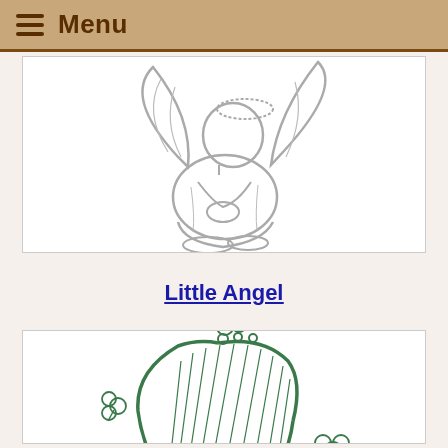Menu
[Figure (illustration): Coloring page illustration of a little angel kneeling/sitting with wings, drawn in gray outline style on white background]
Little Angel
[Figure (illustration): Coloring page illustration of an Irish harp with shamrock/clover decorations, drawn in green outline style on white background]